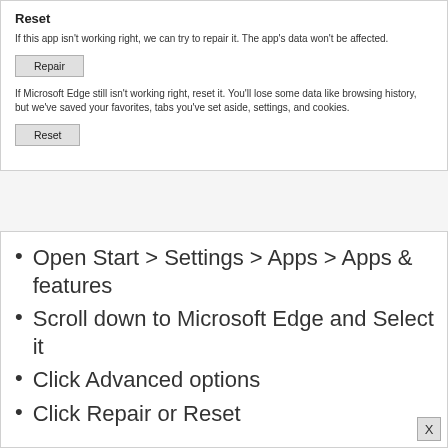Reset
If this app isn't working right, we can try to repair it. The app's data won't be affected.
Repair
If Microsoft Edge still isn't working right, reset it. You'll lose some data like browsing history, but we've saved your favorites, tabs you've set aside, settings, and cookies.
Reset
Open Start > Settings > Apps > Apps & features
Scroll down to Microsoft Edge and Select it
Click Advanced options
Click Repair or Reset